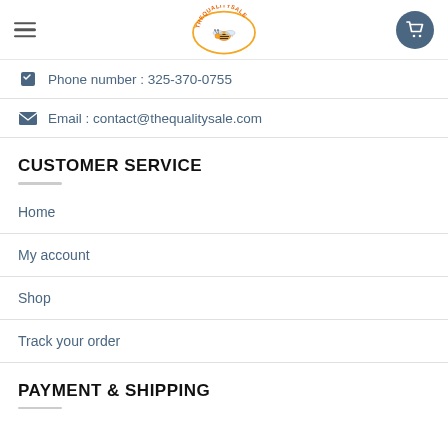TheQualitySale logo header with hamburger menu and cart
Phone number : 325-370-0755
Email : contact@thequalitysale.com
CUSTOMER SERVICE
Home
My account
Shop
Track your order
PAYMENT & SHIPPING